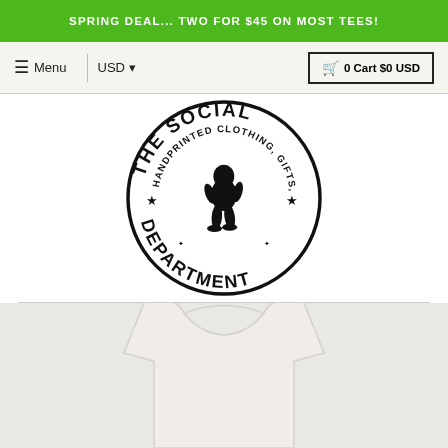SPRING DEAL... TWO FOR $45 ON MOST TEES!
Menu  |  USD  ▾      🛒 0 Cart $0 USD
[Figure (logo): The Social Department circular logo with Bigfoot/Sasquatch silhouette in center, text reading THE SOCIAL DEPARTMENT and HANDPRINTED CLOTHING, GIFTS, & MORE! arranged in a circle with stars]
[Figure (photo): Bottom portion of a white t-shirt visible at the bottom of the page]